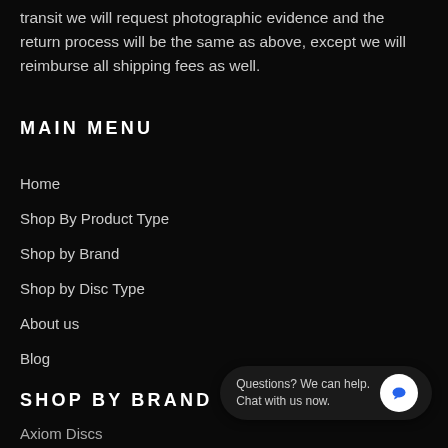transit we will request photographic evidence and the return process will be the same as above, except we will reimburse all shipping fees as well.
MAIN MENU
Home
Shop By Product Type
Shop by Brand
Shop by Disc Type
About us
Blog
SHOP BY BRAND
Axiom Discs
Birdie Disc Golf
Questions? We can help. Chat with us now.